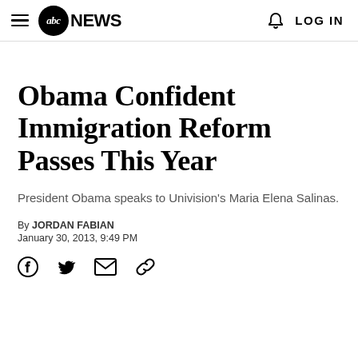abc NEWS — LOG IN
Obama Confident Immigration Reform Passes This Year
President Obama speaks to Univision's Maria Elena Salinas.
By JORDAN FABIAN
January 30, 2013, 9:49 PM